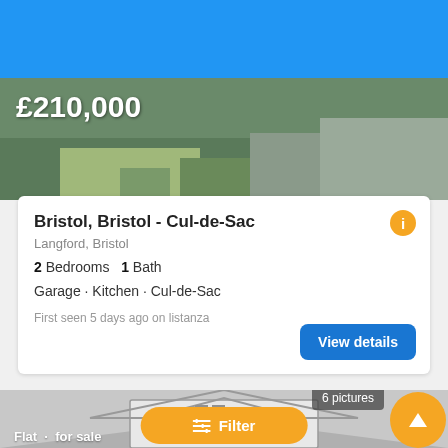[Figure (screenshot): Blue search bar with search icon and text 'Langford, Bristol' and a 'Change' link]
Langford, Bristol
| Change
[Figure (photo): Partial property photo with green garden/grass visible]
£210,000
Bristol, Bristol - Cul-de-Sac
Langford, Bristol
2 Bedrooms   1 Bath
Garage · Kitchen · Cul-de-Sac
First seen 5 days ago on listanza
[Figure (illustration): House icon illustration in grey tones showing a house outline with roof, chimney, windows and door]
6 pictures
≡ Filter
Flat · for sale